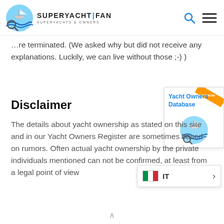[Figure (logo): SuperYacht Fan logo with magnifying glass over waves icon and text SUPERYACHT | FAN, SUPERYACHTS & OWNERS]
…re terminated. (We asked why but did not receive any explanations. Luckily, we can live without those ;-) )
[Figure (logo): Yacht Owners Database badge with SuperYacht Fan icon and HOT NOW label]
Disclaimer
The details about yacht ownership as stated on this site and in our Yacht Owners Register are sometimes based on rumors. Often actual yacht ownership by the private individuals mentioned can not be confirmed, at least from a legal point of view
[Figure (infographic): Italian flag language selector showing IT with arrow]
^